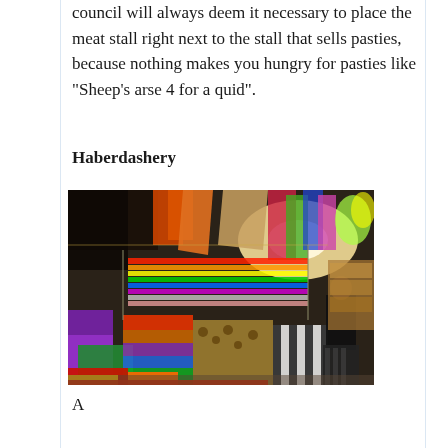council will always deem it necessary to place the meat stall right next to the stall that sells pasties, because nothing makes you hungry for pasties like “Sheep’s arse 4 for a quid”.
Haberdashery
[Figure (photo): A colourful haberdashery market stall with rolls of fabric in many colours piled on tables, and scarves, ribbons, and textiles hanging from above. A person in dark clothing browses at the far end of the stall.]
A sentence beginning that continues below the image and will illustrate...